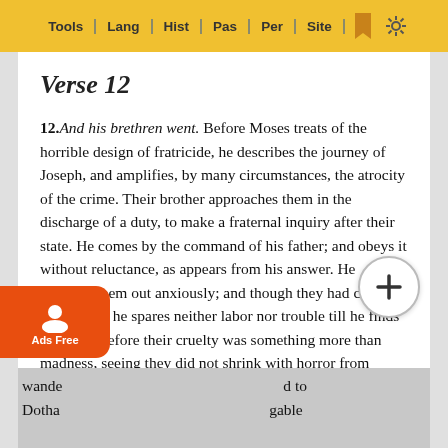Tools | Lang | Hist | Pas | Per | Site
Verse 12
12. And his brethren went. Before Moses treats of the horrible design of fratricide, he describes the journey of Joseph, and amplifies, by many circumstances, the atrocity of the crime. Their brother approaches them in the discharge of a duty, to make a fraternal inquiry after their state. He comes by the command of his father; and obeys it without reluctance, as appears from his answer. He searches them out anxiously; and though they had changed their place, he spares neither labor nor trouble till he finds them. Therefore their cruelty was something more than madness, seeing they did not shrink with horror from contriving the death of one so pious and humane. We now see that Moses did not relate, without a purpose, that a man met Joseph in his wandering, and directed him to Dothan ... not navigable